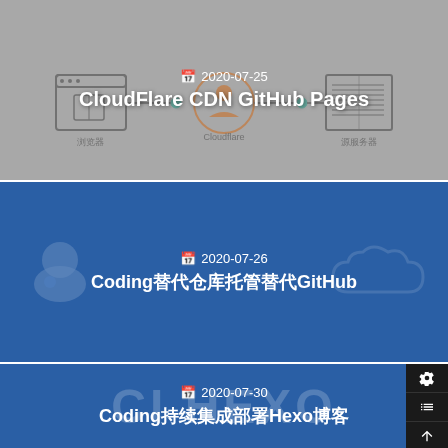[Figure (illustration): Article card with Cloudflare CDN network diagram on grey background. Date 2020-07-25 and title CloudFlare CDN GitHub Pages shown.]
[Figure (illustration): Article card on blue background with Coding and cloud logos watermark. Date 2020-07-26 and title about Coding replacing GitHub.]
[Figure (illustration): Article card on blue background with Coding logo and HEXO watermark. Date 2020-07-30 and title about Coding and Hexo.]